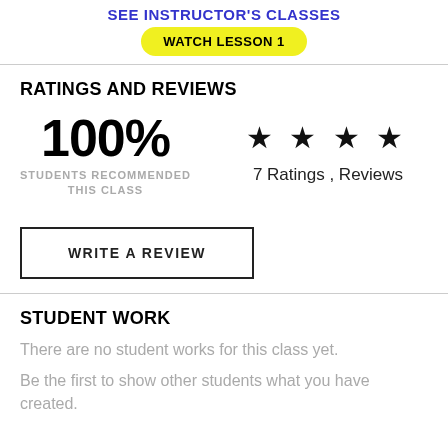SEE INSTRUCTOR'S CLASSES
WATCH LESSON 1
RATINGS AND REVIEWS
100%
STUDENTS RECOMMENDED THIS CLASS
[Figure (other): Five filled star icons indicating rating]
7 Ratings , Reviews
WRITE A REVIEW
STUDENT WORK
There are no student works for this class yet.
Be the first to show other students what you have created.